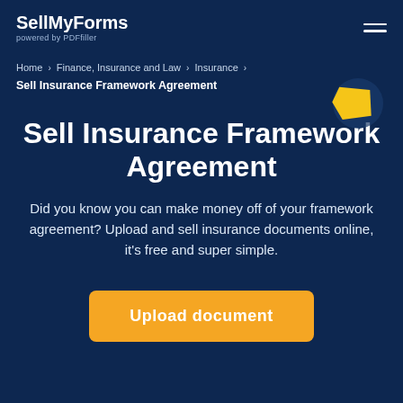SellMyForms powered by PDFfiller
Home › Finance, Insurance and Law › Insurance ›
Sell Insurance Framework Agreement
Sell Insurance Framework Agreement
Did you know you can make money off of your framework agreement? Upload and sell insurance documents online, it's free and super simple.
Upload document